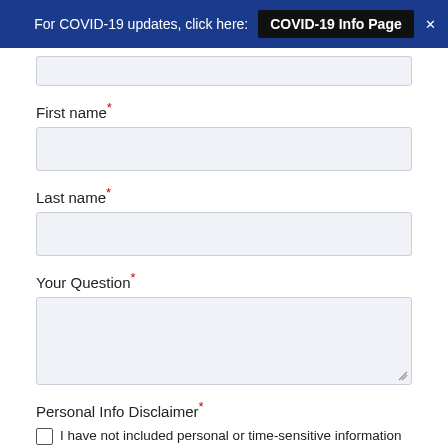For COVID-19 updates, click here: COVID-19 Info Page
First name*
Last name*
Your Question*
Personal Info Disclaimer*
I have not included personal or time-sensitive information in this form such as account numbers, login information or other financial information.*